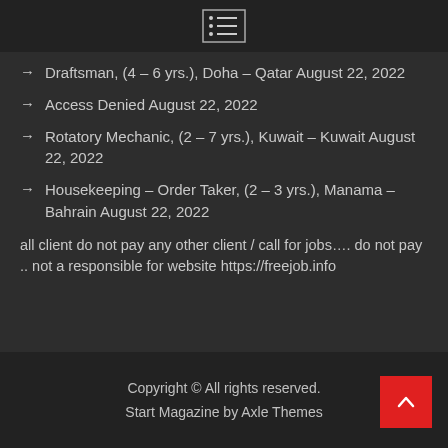[menu icon]
Draftsman, (4 – 6 yrs.), Doha – Qatar August 22, 2022
Access Denied August 22, 2022
Rotatory Mechanic, (2 – 7 yrs.), Kuwait – Kuwait August 22, 2022
Housekeeping – Order Taker, (2 – 3 yrs.), Manama – Bahrain August 22, 2022
all client do not pay any other client / call for jobs…. do not pay .. not a responsible for website https://freejob.info
Copyright © All rights reserved.
Start Magazine by Axle Themes